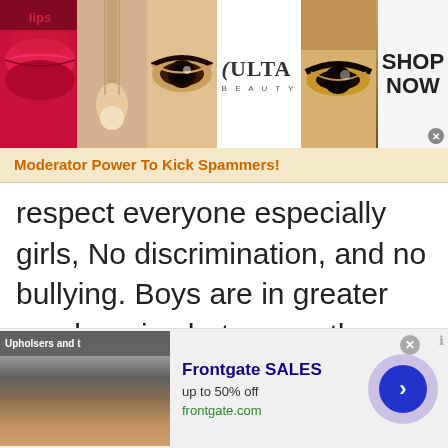[Figure (photo): Ulta Beauty advertisement banner with makeup images (lips with red lipstick, makeup brush, eye with smoky eyeshadow, Ulta Beauty logo, eye with dramatic makeup), and 'SHOP NOW' call to action on the right.]
Moderator Power To Kick Spammers!
respect everyone especially girls, No discrimination, and no bullying. Boys are in greater numbers in chat rooms than girls. So get a chance to talk to Kazakhstani boys and make
[Figure (photo): Frontgate SALES advertisement: outdoor furniture/fire pit image on left, 'Frontgate SALES up to 50% off frontgate.com' text in center, navigation arrow on right.]